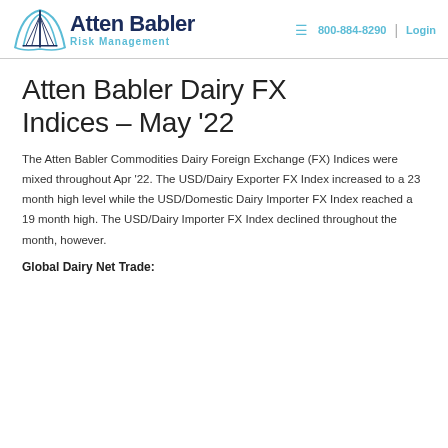Atten Babler Risk Management | 800-884-8290 | Login
Atten Babler Dairy FX Indices – May '22
The Atten Babler Commodities Dairy Foreign Exchange (FX) Indices were mixed throughout Apr '22. The USD/Dairy Exporter FX Index increased to a 23 month high level while the USD/Domestic Dairy Importer FX Index reached a 19 month high. The USD/Dairy Importer FX Index declined throughout the month, however.
Global Dairy Net Trade: